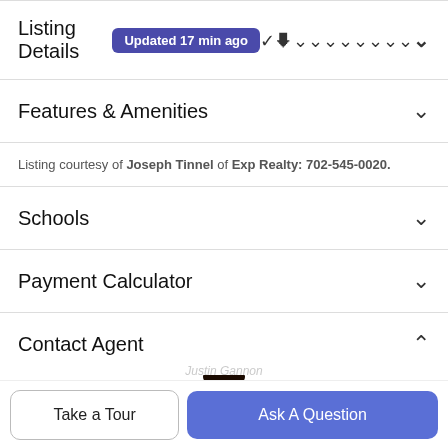Listing Details  Updated 17 min ago
Features & Amenities
Listing courtesy of Joseph Tinnel of Exp Realty: 702-545-0020.
Schools
Payment Calculator
Contact Agent
[Figure (photo): Partial photo of a real estate agent, showing the top of their head]
Take a Tour
Ask A Question